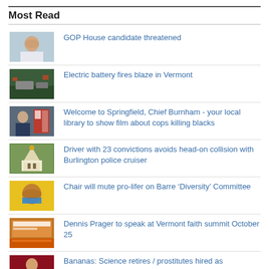Most Read
GOP House candidate threatened
Electric battery fires blaze in Vermont
Welcome to Springfield, Chief Burnham - your local library to show film about cops killing blacks
Driver with 23 convictions avoids head-on collision with Burlington police cruiser
Chair will mute pro-lifer on Barre ‘Diversity’ Committee
Dennis Prager to speak at Vermont faith summit October 25
Bananas: Science retires / prostitutes hired as paraeducators
Water Cooler: Heating fuel shortage / sheep torture